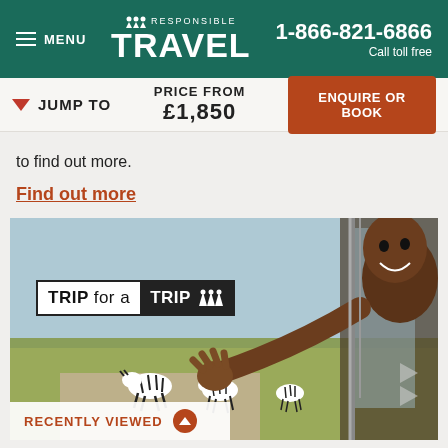MENU | RESPONSIBLE TRAVEL | 1-866-821-6866 Call toll free
JUMP TO | PRICE FROM £1,850 | ENQUIRE OR BOOK
to find out more.
Find out more
[Figure (photo): A smiling African child leaning out of a vehicle window with zebras in the background. A 'TRIP for a TRIP' logo/badge is overlaid in the upper-left area of the image.]
RECENTLY VIEWED